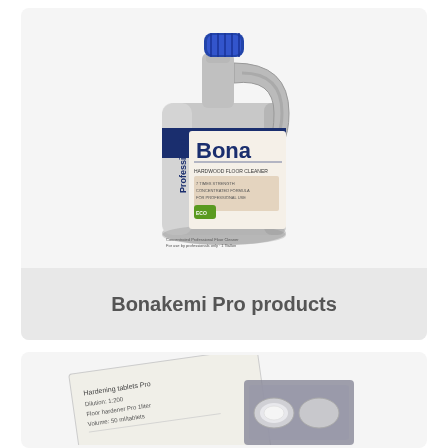[Figure (photo): Bona Professional series large gallon jug/bottle with silver body, blue cap, and blue label showing 'Bona Professional' branding]
Bonakemi Pro products
[Figure (photo): Partially visible image of what appears to be a product package/leaflet and blister pack of tablets at the bottom of the page]